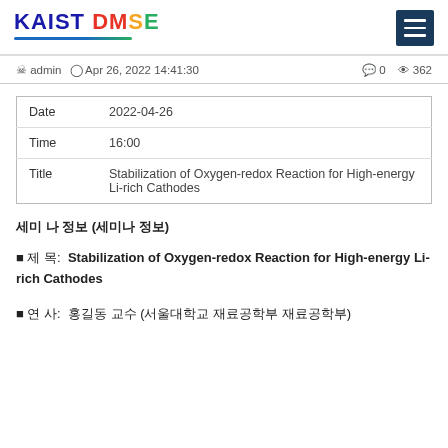KAIST DMSE
admin  Apr 26, 2022 14:41:30   0  362
|  |  |
| --- | --- |
| Date | 2022-04-26 |
| Time | 16:00 |
| Title | Stabilization of Oxygen-redox Reaction for High-energy Li-rich Cathodes |
세미나 정보 (Korean text)
■ 제 목:  Stabilization of Oxygen-redox Reaction for High-energy Li-rich Cathodes
■ 연 사:  (Korean institution text)